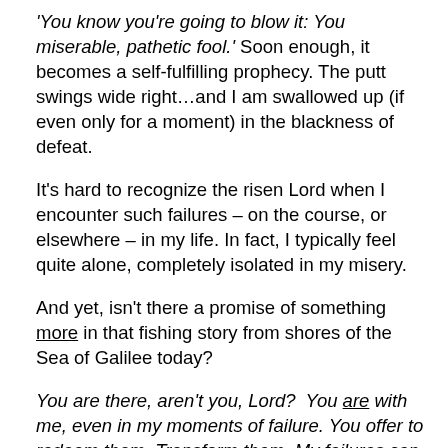'You know you're going to blow it: You miserable, pathetic fool.' Soon enough, it becomes a self-fulfilling prophecy. The putt swings wide right…and I am swallowed up (if even only for a moment) in the blackness of defeat.
It's hard to recognize the risen Lord when I encounter such failures – on the course, or elsewhere – in my life. In fact, I typically feel quite alone, completely isolated in my misery.
And yet, isn't there a promise of something more in that fishing story from shores of the Sea of Galilee today?
You are there, aren't you, Lord? You are with me, even in my moments of failure. You offer to redeem them. Transform them. My failures can become your triumph, if I will simply open my eyes to your presence – and listen for your voice, instead of the all-too-familiar refrain leading to